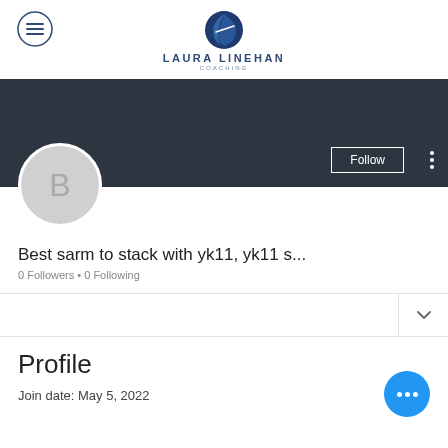[Figure (logo): Laura Linehan Coaching logo: hamburger menu icon on left, circular navy blue logo mark above text LAURA LINEHAN COACHING]
[Figure (screenshot): Dark banner/cover image area in dark navy/charcoal color with Follow button and three-dot menu]
[Figure (photo): User avatar circle with letter B on light gray background]
Best sarm to stack with yk11, yk11 s...
0 Followers • 0 Following
Profile
Join date: May 5, 2022